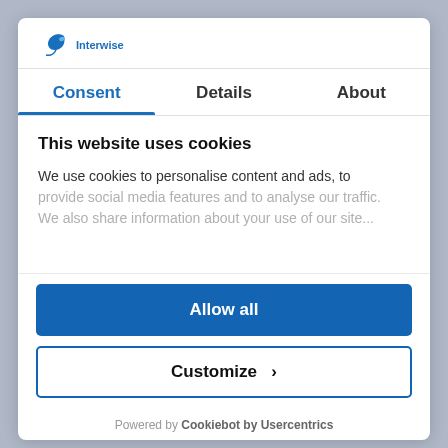[Figure (logo): Interwise logo with blue bird/leaf icon and blue text 'Interwise']
Consent | Details | About
This website uses cookies
We use cookies to personalise content and ads, to provide social media features and to analyse our traffic. We also share information about your use of our site...
Allow all
Customize >
Powered by Cookiebot by Usercentrics